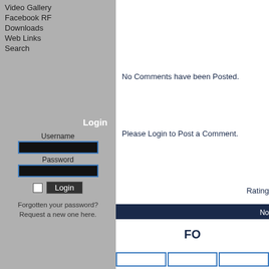Video Gallery
Facebook RF
Downloads
Web Links
Search
Login
Username
Password
Forgotten your password? Request a new one here.
No Comments have been Posted.
Please Login to Post a Comment.
Rating
No
FO